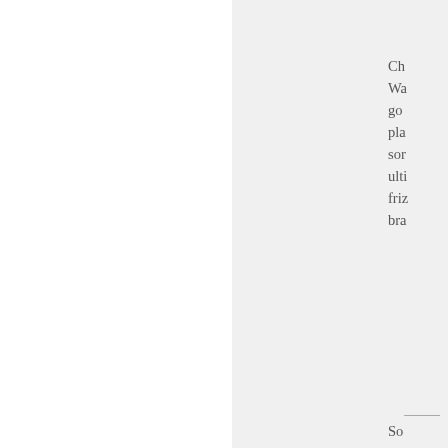Ch Wa go pla sor ulti friz bra
So a hor wal into a bar and the bar say "He why the lon face For